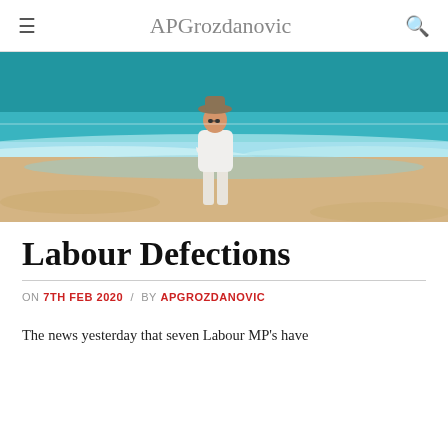APGrozdanovic
[Figure (photo): A man in a white t-shirt, white trousers and a hat standing on a sandy beach with turquoise ocean waves behind him.]
Labour Defections
ON 7TH FEB 2020 / BY APGROZDANOVIC
The news yesterday that seven Labour MP's have